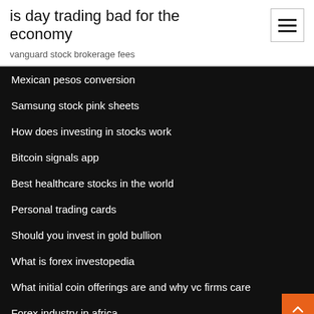is day trading bad for the economy
vanguard stock brokerage fees
Mexican pesos conversion
Samsung stock pink sheets
How does investing in stocks work
Bitcoin signals app
Best healthcare stocks in the world
Personal trading cards
Should you invest in gold bullion
What is forex investopedia
What initial coin offerings are and why vc firms care
Forex industry in africa